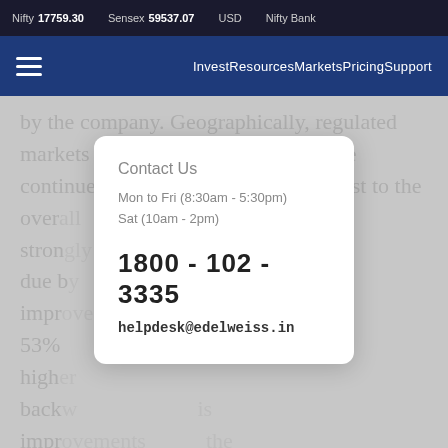Nifty 17759.30   Sensex 59537.07   USD   Nifty Bank
Invest Resources Markets Pricing Support
by the company. Geographically, regulated markets of North America and Europe continued to contribute more than most to the overall... strongly... due to... improved... to 53%... for higher... backw... improvements... the company is undergoing expansion in its key APIs which are expected to generate incremental inflows from H2FY18. Further,
Contact Us
Mon to Fri (8:30am - 5:30pm)
Sat (10am - 2pm)
1800 - 102 - 3335
helpdesk@edelweiss.in